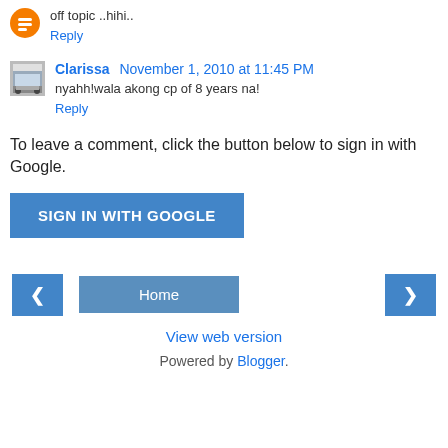off topic ..hihi..
Reply
Clarissa November 1, 2010 at 11:45 PM
nyahh!wala akong cp of 8 years na!
Reply
To leave a comment, click the button below to sign in with Google.
SIGN IN WITH GOOGLE
Home
View web version
Powered by Blogger.